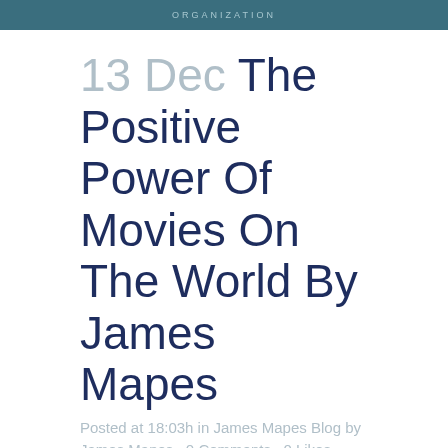ORGANIZATION
13 Dec The Positive Power Of Movies On The World By James Mapes
Posted at 18:03h in James Mapes Blog by James Mapes · 0 Comments · 0 Likes
Recently, the Critics' Choice